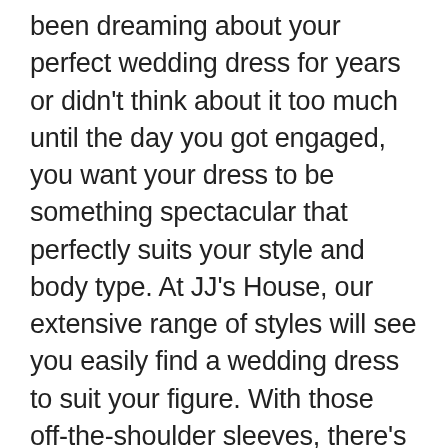been dreaming about your perfect wedding dress for years or didn't think about it too much until the day you got engaged, you want your dress to be something spectacular that perfectly suits your style and body type. At JJ's House, our extensive range of styles will see you easily find a wedding dress to suit your figure. With those off-the-shoulder sleeves, there's more than a hint of Spanish flair – making it ideal for destination weddings! If you want to go extra on your big day, this would suit perfectly. It mixes modest with a flash of flesh from behind. Fit and flare wedding dress under 1500 usd. We can't quite believe that this gorgeous lace wedding dress from ASOS costs less than £100! Sexy yet